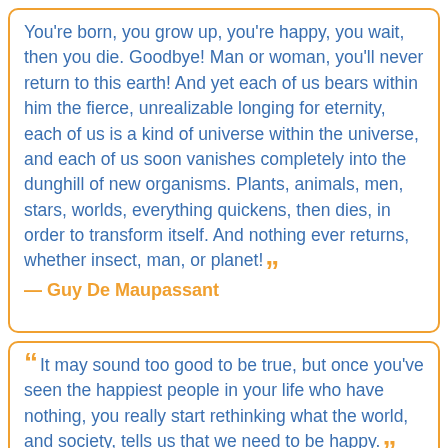You're born, you grow up, you're happy, you wait, then you die. Goodbye! Man or woman, you'll never return to this earth! And yet each of us bears within him the fierce, unrealizable longing for eternity, each of us is a kind of universe within the universe, and each of us soon vanishes completely into the dunghill of new organisms. Plants, animals, men, stars, worlds, everything quickens, then dies, in order to transform itself. And nothing ever returns, whether insect, man, or planet!
— Guy De Maupassant
It may sound too good to be true, but once you've seen the happiest people in your life who have nothing, you really start rethinking what the world, and society, tells us that we need to be happy.